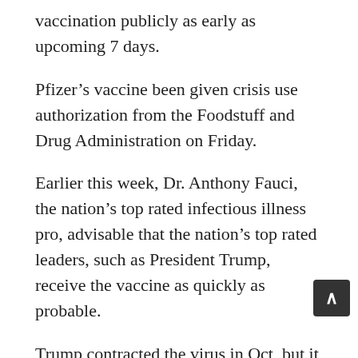vaccination publicly as early as upcoming 7 days.
Pfizer’s vaccine been given crisis use authorization from the Foodstuff and Drug Administration on Friday.
Earlier this week, Dr. Anthony Fauci, the nation’s top rated infectious illness pro, advisable that the nation’s top rated leaders, such as President Trump, receive the vaccine as quickly as probable.
Trump contracted the virus in Oct, but it is not apparent how long immunity lasts.
The sitting president tweeted above the weekend that he thought White Dwelling staff members need to acquire doses later on in the application.